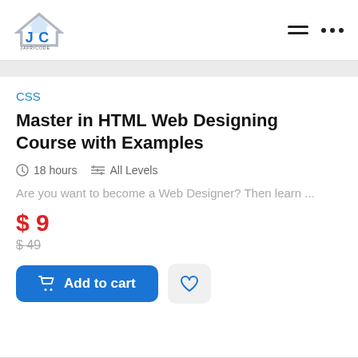JAFRICODE
CSS
Master in HTML Web Designing Course with Examples
18 hours   All Levels
Are you want to become a Web Designer? Then learn ...
$9
$49
Add to cart